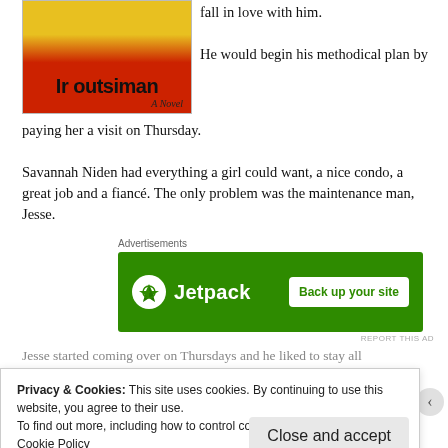[Figure (illustration): Book cover with yellow and red design, title 'In Outsiman' and subtitle 'A Novel']
fall in love with him. He would begin his methodical plan by paying her a visit on Thursday.
Savannah Niden had everything a girl could want, a nice condo, a great job and a fiancé. The only problem was the maintenance man, Jesse.
[Figure (screenshot): Jetpack advertisement banner with green background: 'Jetpack — Back up your site']
Jesse started coming over on Thursdays and he liked to stay all
Privacy & Cookies: This site uses cookies. By continuing to use this website, you agree to their use.
To find out more, including how to control cookies, see here:
Cookie Policy
Close and accept